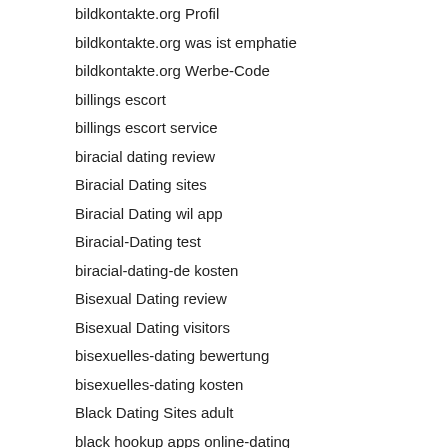bildkontakte.org Profil
bildkontakte.org was ist emphatie
bildkontakte.org Werbe-Code
billings escort
billings escort service
biracial dating review
Biracial Dating sites
Biracial Dating wil app
Biracial-Dating test
biracial-dating-de kosten
Bisexual Dating review
Bisexual Dating visitors
bisexuelles-dating bewertung
bisexuelles-dating kosten
Black Dating Sites adult
black hookup apps online-dating
Black Hookup Apps review
black hookup apps sites